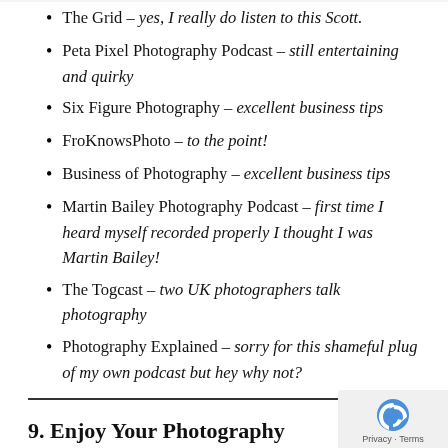The Grid – yes, I really do listen to this Scott.
Peta Pixel Photography Podcast – still entertaining and quirky
Six Figure Photography – excellent business tips
FroKnowsPhoto – to the point!
Business of Photography – excellent business tips
Martin Bailey Photography Podcast – first time I heard myself recorded properly I thought I was Martin Bailey!
The Togcast – two UK photographers talk photography
Photography Explained – sorry for this shameful plug of my own podcast but hey why not?
9. Enjoy Your Photography
We can all take life too seriously. Photography is a